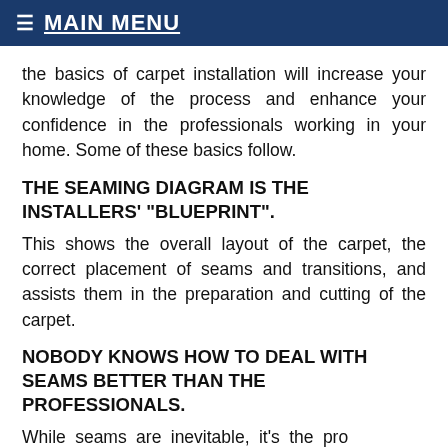☰ MAIN MENU
the basics of carpet installation will increase your knowledge of the process and enhance your confidence in the professionals working in your home. Some of these basics follow.
THE SEAMING DIAGRAM IS THE INSTALLERS' "BLUEPRINT".
This shows the overall layout of the carpet, the correct placement of seams and transitions, and assists them in the preparation and cutting of the carpet.
NOBODY KNOWS HOW TO DEAL WITH SEAMS BETTER THAN THE PROFESSIONALS.
While seams are inevitable, it's the pro who excel at minimizing and hiding seams. They call on years of experience and tried and true methods. Case in point: they'll insure seams are